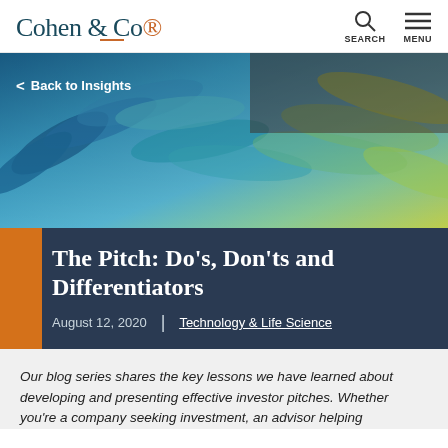Cohen & Co®  SEARCH  MENU
[Figure (photo): Close-up photo of colorful blue, teal, and yellow-green parrot feathers with 'Back to Insights' navigation link overlay]
The Pitch: Do’s, Don’ts and Differentiators
August 12, 2020 | Technology & Life Science
Our blog series shares the key lessons we have learned about developing and presenting effective investor pitches. Whether you’re a company seeking investment, an advisor helping